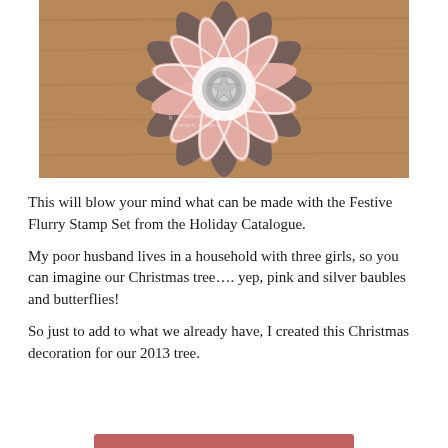[Figure (photo): Close-up photograph of a handmade Christmas decoration made with the Festive Flurry Stamp Set, showing pink and grey/brown patterned paper flower layers with a silver embellishment at the center, on a wooden background.]
This will blow your mind what can be made with the Festive Flurry Stamp Set from the Holiday Catalogue.
My poor husband lives in a household with three girls, so you can imagine our Christmas tree…. yep, pink and silver baubles and butterflies!
So just to add to what we already have, I created this Christmas decoration for our 2013 tree.